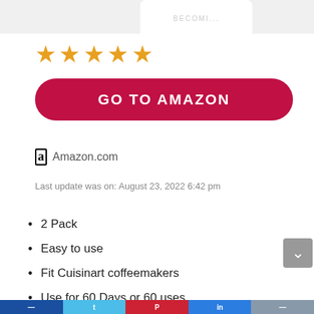[Figure (illustration): Partial product image at top of page, cropped]
[Figure (illustration): Five gold star rating]
[Figure (illustration): Red rounded button with white bold text: GO TO AMAZON]
Amazon.com
Last update was on: August 23, 2022 6:42 pm
2 Pack
Easy to use
Fit Cuisinart coffeemakers
Use for 60 Days or 60 uses